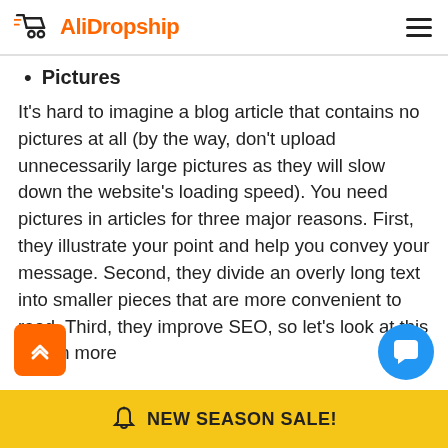AliDropship
Pictures
It’s hard to imagine a blog article that contains no pictures at all (by the way, don’t upload unnecessarily large pictures as they will slow down the website’s loading speed). You need pictures in articles for three major reasons. First, they illustrate your point and help you convey your message. Second, they divide an overly long text into smaller pieces that are more convenient to read. Third, they improve SEO, so let’s look at this part in more
NEW SEASON SALE!